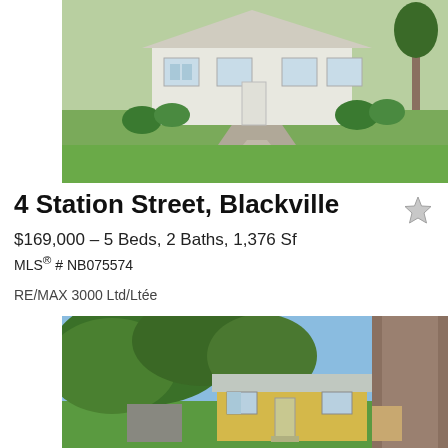[Figure (photo): Exterior photo of a white single-storey house with green lawn and gravel driveway]
4 Station Street, Blackville
$169,000 – 5 Beds, 2 Baths, 1,376 Sf
MLS® # NB075574
RE/MAX 3000 Ltd/Ltée
[Figure (photo): Exterior photo of a yellow single-storey house with large trees and green lawn]